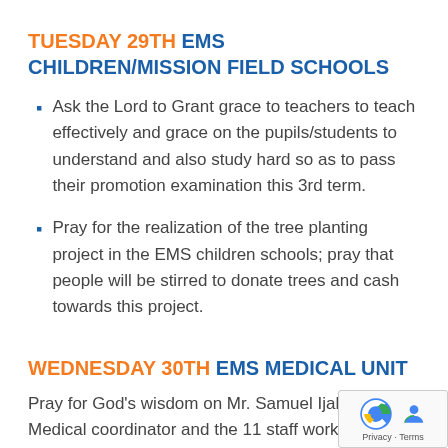TUESDAY 29TH EMS CHILDREN/MISSION FIELD SCHOOLS
Ask the Lord to Grant grace to teachers to teach effectively and grace on the pupils/students to understand and also study hard so as to pass their promotion examination this 3rd term.
Pray for the realization of the tree planting project in the EMS children schools; pray that people will be stirred to donate trees and cash towards this project.
WEDNESDAY 30TH EMS MEDICAL UNIT
Pray for God's wisdom on Mr. Samuel Ijah the EMS Medical coordinator and the 11 staff working with him